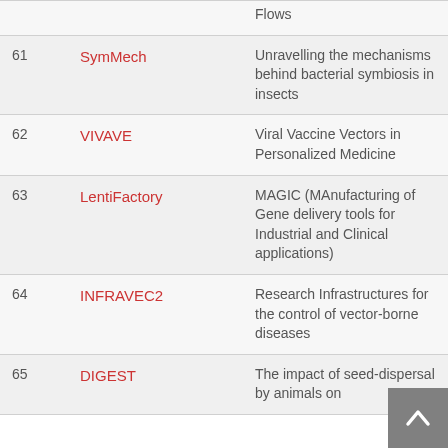| # | Name | Description |
| --- | --- | --- |
|  |  | Flows |
| 61 | SymMech | Unravelling the mechanisms behind bacterial symbiosis in insects |
| 62 | VIVAVE | Viral Vaccine Vectors in Personalized Medicine |
| 63 | LentiFactory | MAGIC (MAnufacturing of Gene delivery tools for Industrial and Clinical applications) |
| 64 | INFRAVEC2 | Research Infrastructures for the control of vector-borne diseases |
| 65 | DIGEST | The impact of seed-dispersal by animals on… |